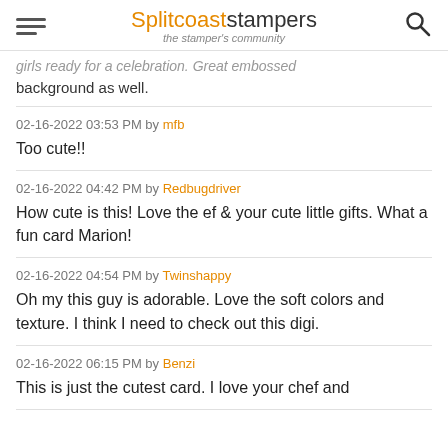Splitcoaststampers — the stamper's community
girls ready for a celebration. Great embossed background as well.
02-16-2022 03:53 PM by mfb
Too cute!!
02-16-2022 04:42 PM by Redbugdriver
How cute is this! Love the ef & your cute little gifts. What a fun card Marion!
02-16-2022 04:54 PM by Twinshappy
Oh my this guy is adorable. Love the soft colors and texture. I think I need to check out this digi.
02-16-2022 06:15 PM by Benzi
This is just the cutest card. I love your chef and